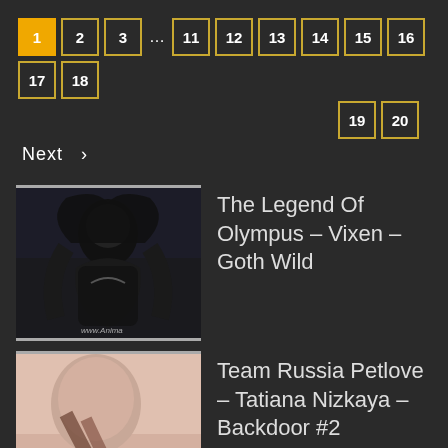Pagination: 1 2 3 ... 11 12 13 14 15 16 17 18 19 20 Next >
[Figure (photo): Dark image of a figure in gothic costume]
The Legend Of Olympus – Vixen – Goth Wild
[Figure (photo): Partially visible person with long hair]
Team Russia Petlove – Tatiana Nizkaya – Backdoor #2